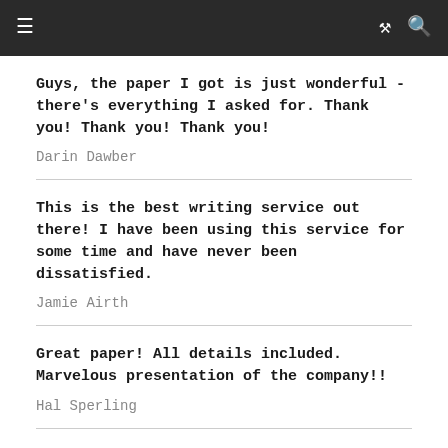≡  ∞  🔍
Guys, the paper I got is just wonderful - there's everything I asked for. Thank you! Thank you! Thank you!
Darin Dawber
This is the best writing service out there! I have been using this service for some time and have never been dissatisfied.
Jamie Airth
Great paper! All details included. Marvelous presentation of the company!!
Hal Sperling